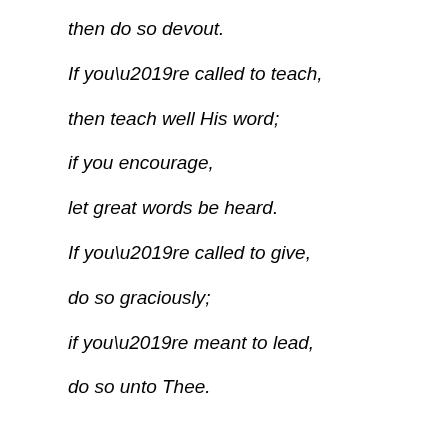then do so devout.
If you're called to teach,
then teach well His word;
if you encourage,
let great words be heard.
If you're called to give,
do so graciously;
if you're meant to lead,
do so unto Thee.